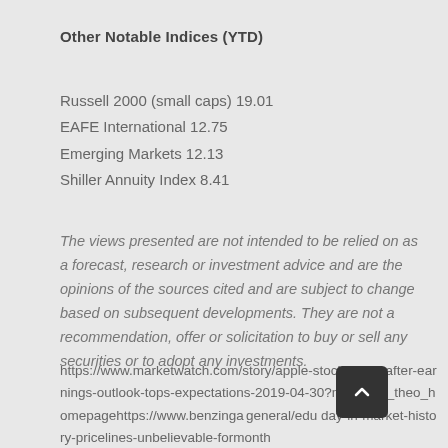Other Notable Indices (YTD)
Russell 2000 (small caps) 19.01
EAFE International 12.75
Emerging Markets 12.13
Shiller Annuity Index 8.41
The views presented are not intended to be relied on as a forecast, research or investment advice and are the opinions of the sources cited and are subject to change based on subsequent developments. They are not a recommendation, offer or solicitation to buy or sell any securities or to adopt any investments.
https://www.marketwatch.com/story/apple-stock-gains-after-earnings-outlook-tops-expectations-2019-04-30?mod=mw_theo_homepagehttps://www.benzinga/general/edu day-in-market-history-pricelines-unbelievable-formonth